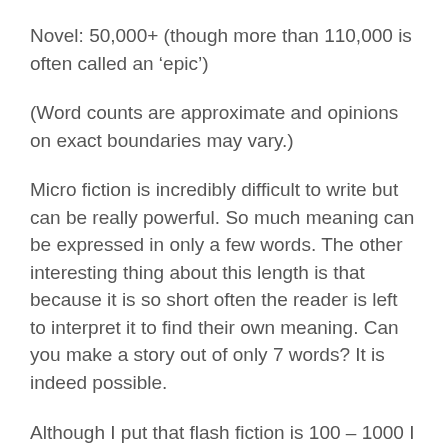Novel: 50,000+ (though more than 110,000 is often called an 'epic')
(Word counts are approximate and opinions on exact boundaries may vary.)
Micro fiction is incredibly difficult to write but can be really powerful. So much meaning can be expressed in only a few words. The other interesting thing about this length is that because it is so short often the reader is left to interpret it to find their own meaning. Can you make a story out of only 7 words? It is indeed possible.
Although I put that flash fiction is 100 – 1000 I would generally consider it to be most often 350 – 800. This length allows for more description than